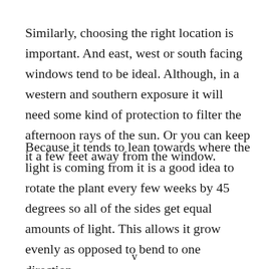Similarly, choosing the right location is important. And east, west or south facing windows tend to be ideal. Although, in a western and southern exposure it will need some kind of protection to filter the afternoon rays of the sun. Or you can keep it a few feet away from the window.
Because it tends to lean towards where the light is coming from it is a good idea to rotate the plant every few weeks by 45 degrees so all of the sides get equal amounts of light. This allows it grow evenly as opposed to bend to one direction.
v